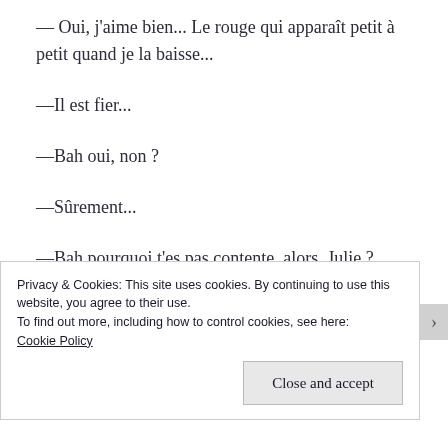— Oui, j'aime bien... Le rouge qui apparaît petit à petit quand je la baisse...
—Il est fier...
—Bah oui, non ?
—Sûrement...
—Bah pourquoi t'es pas contente, alors, Julie ?
Privacy & Cookies: This site uses cookies. By continuing to use this website, you agree to their use.
To find out more, including how to control cookies, see here: Cookie Policy